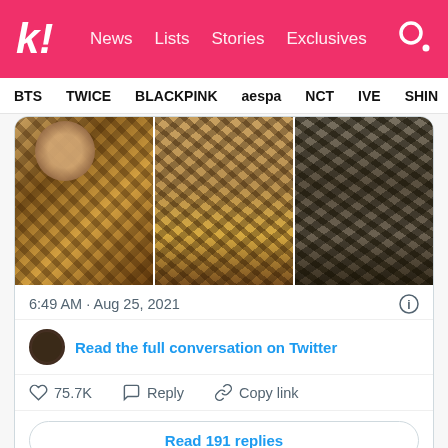k! News Lists Stories Exclusives
BTS  TWICE  BLACKPINK  aespa  NCT  IVE  SHIN
[Figure (photo): Three photos of people wearing leopard print clothing]
6:49 AM · Aug 25, 2021
Read the full conversation on Twitter
75.7K   Reply   Copy link
Read 191 replies
11. Even Normani is excited about this collab